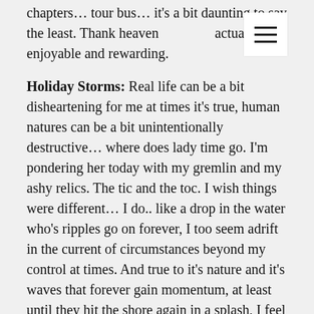chapters… tour bus… it's a bit daunting to say the least. Thank heaven it's actually enjoyable and rewarding.
Holiday Storms: Real life can be a bit disheartening for me at times it's true, human natures can be a bit unintentionally destructive… where does lady time go. I'm pondering her today with my gremlin and my ashy relics. The tic and the toc. I wish things were different… I do.. like a drop in the water who's ripples go on forever, I too seem adrift in the current of circumstances beyond my control at times. And true to it's nature and it's waves that forever gain momentum, at least until they hit the shore again in a splash, I feel helpless at times in its path. Tumbling in the waves. Wishing on shattered dreams. A silly broken coin